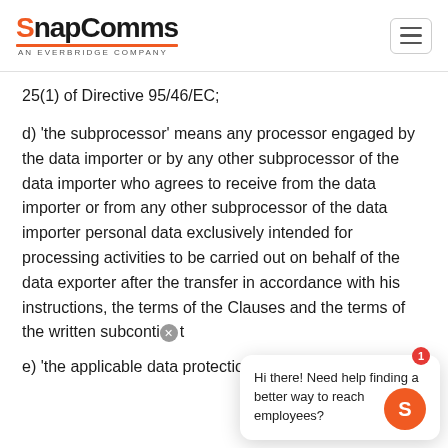SnapComms — AN EVERBRIDGE COMPANY
25(1) of Directive 95/46/EC;
d) 'the subprocessor' means any processor engaged by the data importer or by any other subprocessor of the data importer who agrees to receive from the data importer or from any other subprocessor of the data importer personal data exclusively intended for processing activities to be carried out on behalf of the data exporter after the transfer in accordance with his instructions, the terms of the Clauses and the terms of the written subcontract;
e) 'the applicable data protection law' means the